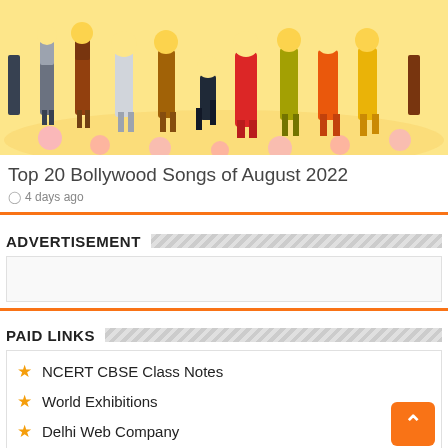[Figure (illustration): Cartoon/anime style illustration of multiple figures standing together against a warm yellow and pink floral background]
Top 20 Bollywood Songs of August 2022
4 days ago
ADVERTISEMENT
PAID LINKS
NCERT CBSE Class Notes
World Exhibitions
Delhi Web Company